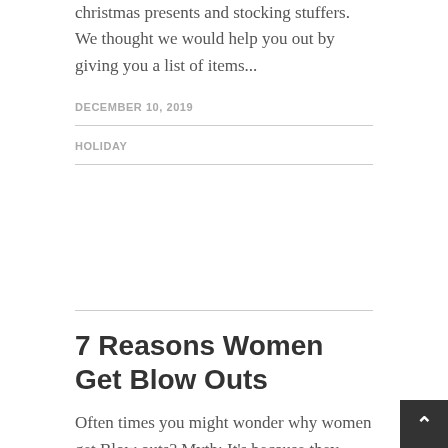christmas presents and stocking stuffers. We thought we would help you out by giving you a list of items...
DECEMBER 10, 2019
HOLIDAY
7 Reasons Women Get Blow Outs
Often times you might wonder why women get Blow outs? Myth: It's because they have